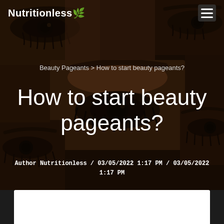Nutritionless
Beauty Pageants > How to start beauty pageants?
How to start beauty pageants?
Author Nutritionless / 03/05/2022 1:17 PM / 03/05/2022 1:17 PM
[Figure (photo): Collage of close-up photographs of women's eyes with eyebrows, arranged at various angles, forming a dark mosaic background]